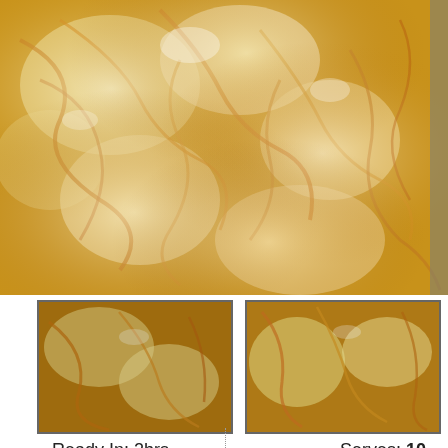[Figure (photo): Close-up photo of a baked mac and cheese or similar cheesy pasta dish in a foil pan, showing melted white and yellow cheese strands on top]
[Figure (photo): Two smaller thumbnail images of the same cheesy dish, shown below the main photo]
Ready In: 2hrs
Serves: 10
Units: US
Nutrition Information